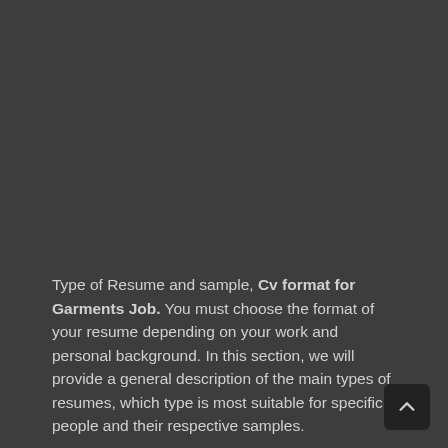Type of Resume and sample, Cv format for Garments Job. You must choose the format of your resume depending on your work and personal background. In this section, we will provide a general description of the main types of resumes, which type is most suitable for specific people and their respective samples.